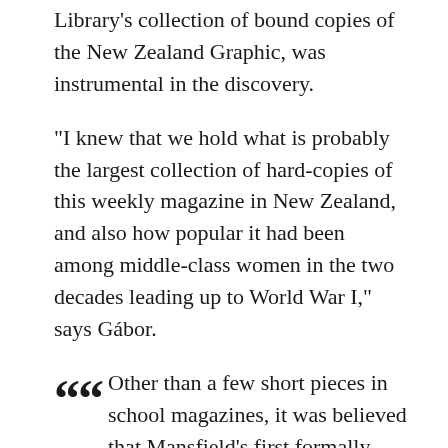Library's collection of bound copies of the New Zealand Graphic, was instrumental in the discovery.
“I knew that we hold what is probably the largest collection of hard-copies of this weekly magazine in New Zealand, and also how popular it had been among middle-class women in the two decades leading up to World War I,” says Gábor.
Other than a few short pieces in school magazines, it was believed that Mansfield’s first formally published work wasn’t printed until 1907. To uncover a short story dated seven years